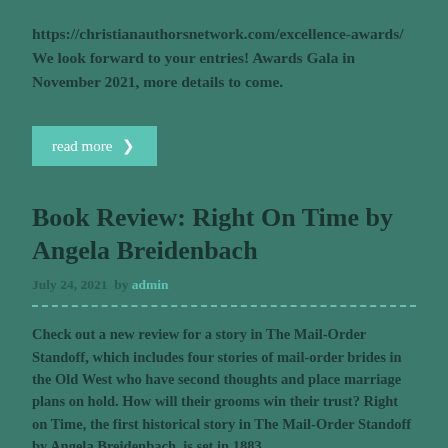https://christianauthorsnetwork.com/excellence-awards/ We look forward to your entries! Awards Gala in November 2021, more details to come.
[Figure (other): A teal 'read more' button with a right-arrow chevron]
Book Review: Right On Time by Angela Breidenbach
July 24, 2021  by admin
Check out a new review for a story in The Mail-Order Standoff, which includes four stories of mail-order brides in the Old West who have second thoughts and place marriage plans on hold. How will their grooms win their trust? Right on Time, the first historical story in The Mail-Order Standoff by Angela Breidenbach, is set in 1883